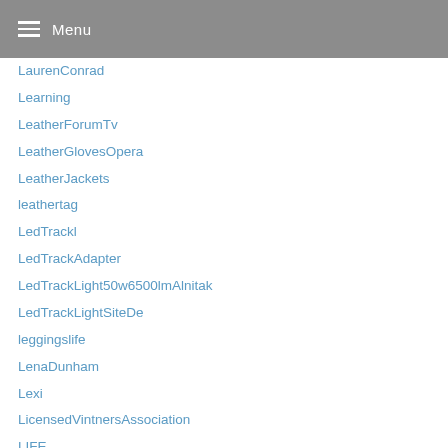Menu
LaurenConrad
Learning
LeatherForumTv
LeatherGlovesOpera
LeatherJackets
leathertag
LedTrackl
LedTrackAdapter
LedTrackLight50w6500lmAlnitak
LedTrackLightSiteDe
leggingslife
LenaDunham
Lexi
LicensedVintnersAssociation
LIFE
LifeAndStyle
LifeSkills